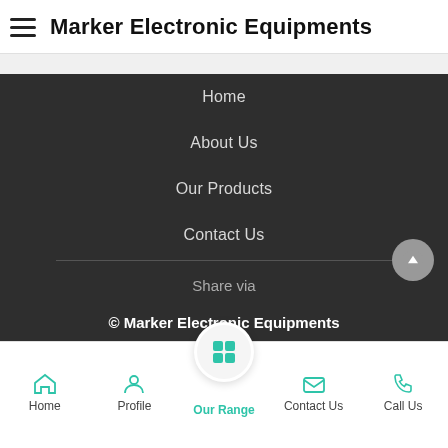Marker Electronic Equipments
Home
About Us
Our Products
Contact Us
Share via
© Marker Electronic Equipments
Home  Profile  Our Range  Contact Us  Call Us